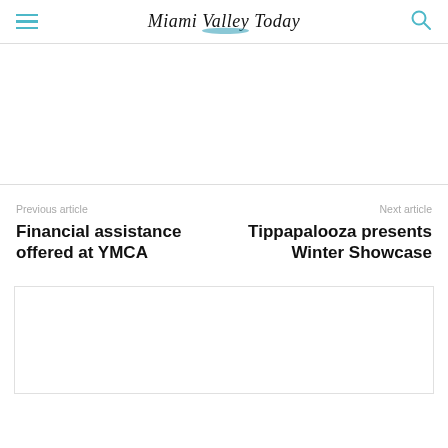Miami Valley Today
Previous article
Financial assistance offered at YMCA
Next article
Tippapalooza presents Winter Showcase